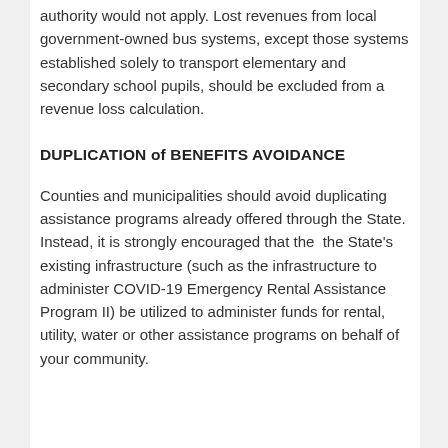authority would not apply. Lost revenues from local government-owned bus systems, except those systems established solely to transport elementary and secondary school pupils, should be excluded from a revenue loss calculation.
DUPLICATION of BENEFITS AVOIDANCE
Counties and municipalities should avoid duplicating assistance programs already offered through the State. Instead, it is strongly encouraged that the  the State's existing infrastructure (such as the infrastructure to administer COVID-19 Emergency Rental Assistance Program II) be utilized to administer funds for rental, utility, water or other assistance programs on behalf of your community.